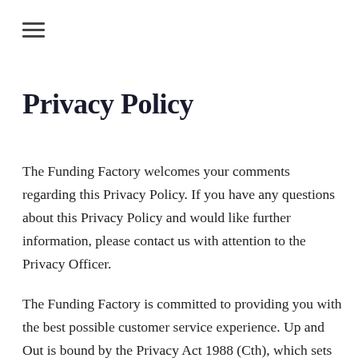≡
Privacy Policy
The Funding Factory welcomes your comments regarding this Privacy Policy. If you have any questions about this Privacy Policy and would like further information, please contact us with attention to the Privacy Officer.
The Funding Factory is committed to providing you with the best possible customer service experience. Up and Out is bound by the Privacy Act 1988 (Cth), which sets out a number of principles concerning the privacy of